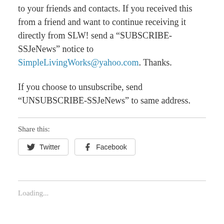to your friends and contacts. If you received this from a friend and want to continue receiving it directly from SLW! send a “SUBSCRIBE-SSJeNews” notice to SimpleLivingWorks@yahoo.com. Thanks.
If you choose to unsubscribe, send “UNSUBSCRIBE-SSJeNews” to same address.
Share this:
[Figure (other): Share buttons: Twitter and Facebook]
Loading...